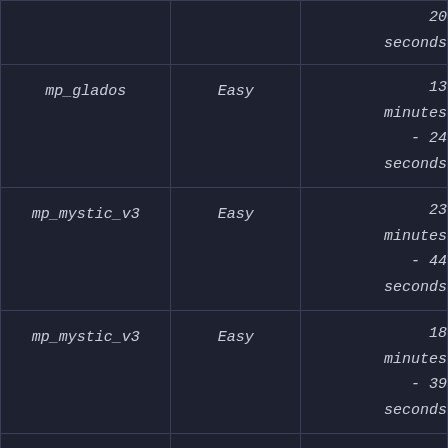| Map | Difficulty | Time |
| --- | --- | --- |
|  |  | 20 seconds |
| mp_glados | Easy | 13 minutes - 24 seconds |
| mp_mystic_v3 | Easy | 23 minutes - 44 seconds |
| mp_mystic_v3 | Easy | 18 minutes - 39 seconds |
| mp_galaxy | Easy | 42 |